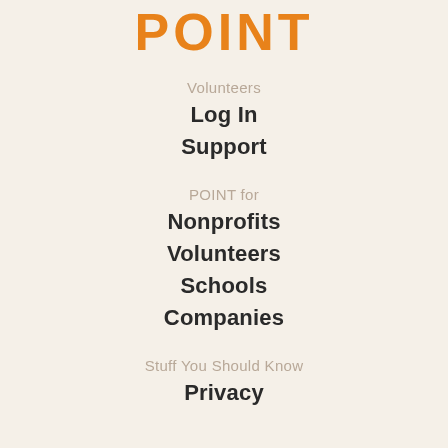POINT
Volunteers
Log In
Support
POINT for
Nonprofits
Volunteers
Schools
Companies
Stuff You Should Know
Privacy